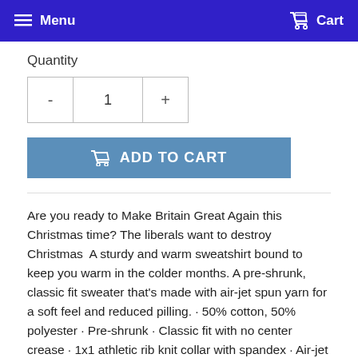Menu  Cart
Quantity
- 1 +
ADD TO CART
Are you ready to Make Britain Great Again this Christmas time? The liberals want to destroy Christmas  A sturdy and warm sweatshirt bound to keep you warm in the colder months. A pre-shrunk, classic fit sweater that's made with air-jet spun yarn for a soft feel and reduced pilling. · 50% cotton, 50% polyester · Pre-shrunk · Classic fit with no center crease · 1x1 athletic rib knit collar with spandex · Air-jet spun yarn with a soft feel and reduced pilling · Double-needle stitched collar, shoulders, armholes, cuffs, and hem